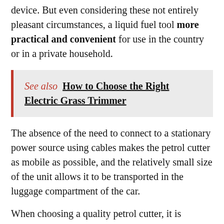device. But even considering these not entirely pleasant circumstances, a liquid fuel tool more practical and convenient for use in the country or in a private household.
See also  How to Choose the Right Electric Grass Trimmer
The absence of the need to connect to a stationary power source using cables makes the petrol cutter as mobile as possible, and the relatively small size of the unit allows it to be transported in the luggage compartment of the car.
When choosing a quality petrol cutter, it is important to pay attention to the following